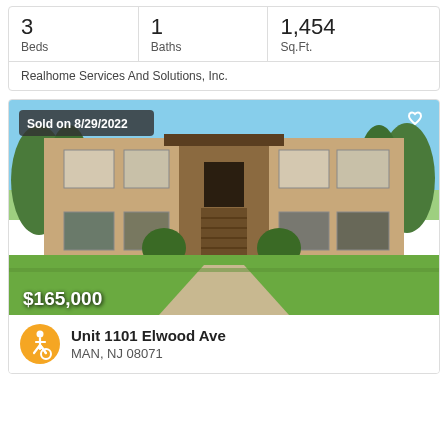| Beds | Baths | Sq.Ft. |
| --- | --- | --- |
| 3 | 1 | 1,454 |
Realhome Services And Solutions, Inc.
[Figure (photo): Front exterior photo of a two-story tan/brown apartment building with central staircase entry, trimmed hedges and trees, concrete walkway, sold on 8/29/2022, listed at $165,000]
Unit 1101 Elwood Ave
MAN, NJ 08071